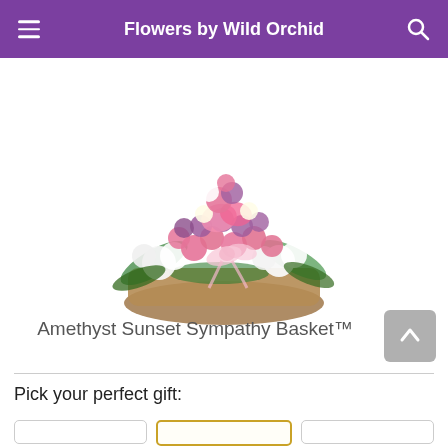Flowers by Wild Orchid
[Figure (photo): A large floral sympathy basket arrangement featuring pink carnations, white chrysanthemums, purple/mauve flowers, pink lilies, and green ferns, with a pink ribbon bow, arranged in a wicker basket on a white background.]
Amethyst Sunset Sympathy Basket™
Pick your perfect gift: